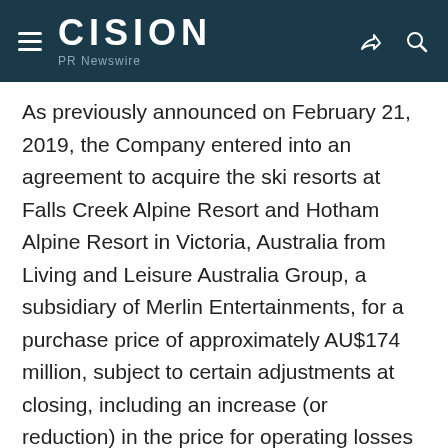CISION PR Newswire
As previously announced on February 21, 2019, the Company entered into an agreement to acquire the ski resorts at Falls Creek Alpine Resort and Hotham Alpine Resort in Victoria, Australia from Living and Leisure Australia Group, a subsidiary of Merlin Entertainments, for a purchase price of approximately AU$174 million, subject to certain adjustments at closing, including an increase (or reduction) in the price for operating losses (or gains) incurred for the period from December 29, 2018 through closing. The Company also expects to pay a stamp duty, which we estimate will be approximately AU$4 million, associated with the closing of the transaction. Falls Creek and Hotham are expected to